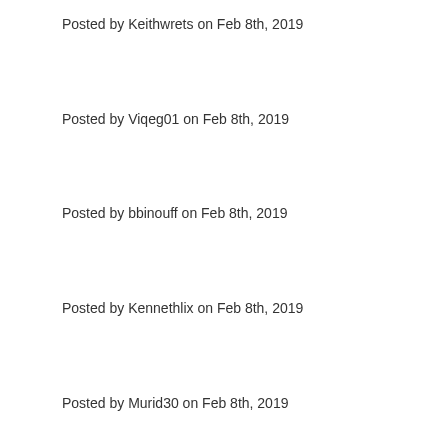Posted by Keithwrets on Feb 8th, 2019
Posted by Viqeg01 on Feb 8th, 2019
Posted by bbinouff on Feb 8th, 2019
Posted by Kennethlix on Feb 8th, 2019
Posted by Murid30 on Feb 8th, 2019
Posted by rbsOrign on Feb 8th, 2019
Posted by Richardpah on Feb 8th, 2019
Posted by bbsSopsy on Feb 8th, 2019
Posted by bbijuile on Feb 8th, 2019
Posted by ffradvor on Feb 9th, 2019
Posted by Tidiw58 on Feb 9th, 2019
Posted by bbdFuero on Feb 9th, 2019